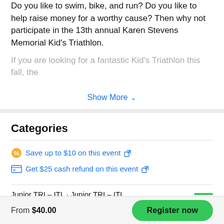Do you like to swim, bike, and run? Do you like to help raise money for a worthy cause? Then why not participate in the 13th annual Karen Stevens Memorial Kid's Triathlon.
If you are looking for a fantastic Kid's Triathlon this fall, the
Show More ∨
Categories
Save up to $10 on this event [external link]
Get $25 cash refund on this event [external link]
Junior TRI – ITL · Junior TRI – ITL
From $40.00
Register now